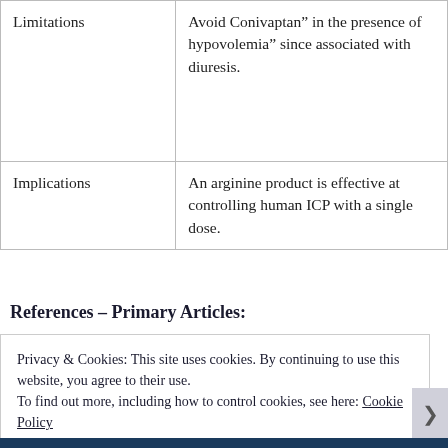| Limitations | Avoid Conivaptan” in the presence of hypovolemia” since associated with diuresis. |
| Implications | An arginine product is effective at controlling human ICP with a single dose. |
References – Primary Articles:
Privacy & Cookies: This site uses cookies. By continuing to use this website, you agree to their use.
To find out more, including how to control cookies, see here: Cookie Policy
Close and accept